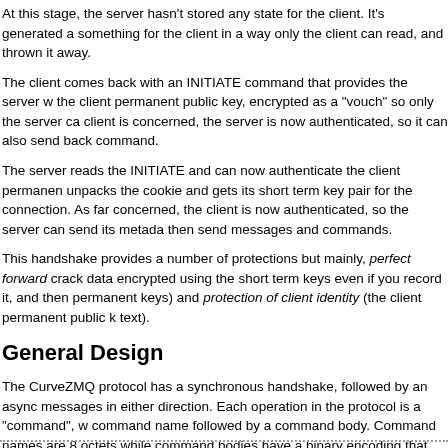At this stage, the server hasn't stored any state for the client. It's generated a something for the client in a way only the client can read, and thrown it away.
The client comes back with an INITIATE command that provides the server with the client permanent public key, encrypted as a "vouch" so only the server can read it. As far as the client is concerned, the server is now authenticated, so it can also send back its metadata in the INITIATE command.
The server reads the INITIATE and can now authenticate the client permanently. It also unpacks the cookie and gets its short term key pair for the connection. As far as the server is concerned, the client is now authenticated, so the server can send its metadata back. Both peers can then send messages and commands.
This handshake provides a number of protections but mainly, perfect forward secrecy (you can't crack data encrypted using the short term keys even if you record it, and then later get the permanent keys) and protection of client identity (the client permanent public key is only sent in clear text).
General Design
The CurveZMQ protocol has a synchronous handshake, followed by an asynchronous flow of messages in either direction. Each operation in the protocol is a "command", which consists of a command name followed by a command body. Command names are 8 octets, padded with spaces, while command bodies have a binary encoding that depends on the command.
CurveZMQ has these commands: HELLO, WELCOME, INITIATE, READY, MESSAGE. A connection always starts with the client sending HELLO to the server, which r...